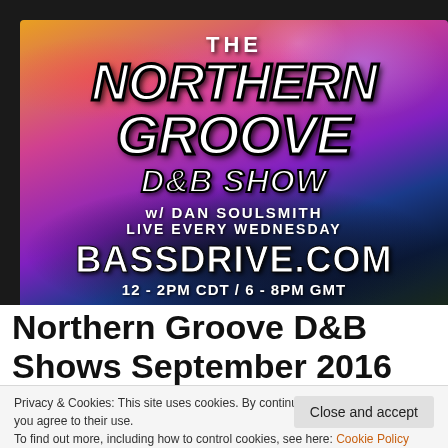[Figure (illustration): The Northern Groove D&B Show promotional banner. Dark sky with colorful clouds (pink, purple, orange). White bold italic text reads: THE / NORTHERN / GROOVE / D&B SHOW / w/ DAN SOULSMITH / LIVE EVERY WEDNESDAY / BASSDRIVE.COM / 12 - 2PM CDT / 6 - 8PM GMT. Text has black outlines.]
Northern Groove D&B Shows September 2016
Privacy & Cookies: This site uses cookies. By continuing to use this website, you agree to their use.
To find out more, including how to control cookies, see here: Cookie Policy
Close and accept
Trafford, Manchester, UK. Listen live via the Bassdrive pop-up